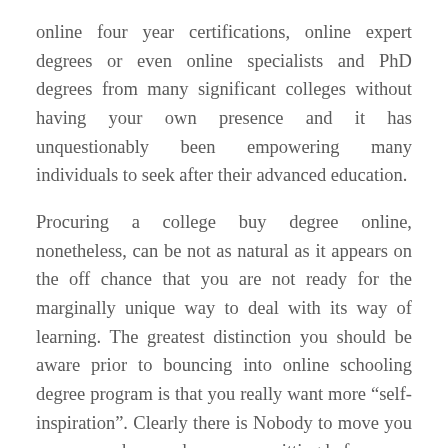online four year certifications, online expert degrees or even online specialists and PhD degrees from many significant colleges without having your own presence and it has unquestionably been empowering many individuals to seek after their advanced education.
Procuring a college buy degree online, nonetheless, can be not as natural as it appears on the off chance that you are not ready for the marginally unique way to deal with its way of learning. The greatest distinction you should be aware prior to bouncing into online schooling degree program is that you really want more “self-inspiration”. Clearly there is Nobody to move you or even push you when you are sitting before your PC without anyone else. At the end of the day, you really want to have an assurance, self-